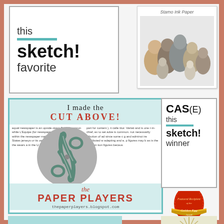[Figure (illustration): Badge reading 'this sketch! favorite' with teal decorative line, on white background with gray border]
[Figure (photo): Photo card of dogs and cats grouped together, with 'Stamo Ink Paper' text, white card border]
[Figure (illustration): Paper Players badge: 'I made the CUT ABOVE!' with scissors on newsprint background, red Paper Players logo and website URL thepaperplayers.blogspot.com]
[Figure (illustration): CAS(E) this sketch! winner badge with teal line accent]
[Figure (illustration): Golden Egg award badge from kraftychickachallenge.blogspot.com with red egg and gold ribbon]
[Figure (illustration): Teal card with flower and 'I was the' text]
[Figure (illustration): Blank Page award sunburst badge]